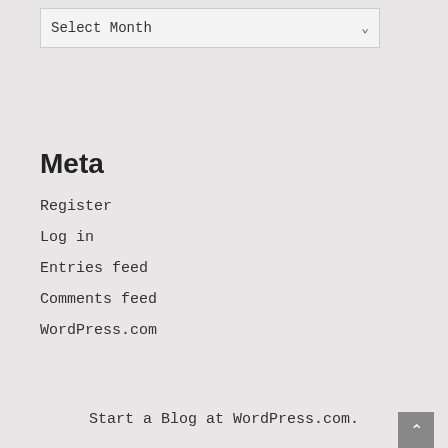[Figure (screenshot): A dropdown/select box with 'Select Month' text and a down-arrow on the right]
Meta
Register
Log in
Entries feed
Comments feed
WordPress.com
Start a Blog at WordPress.com.